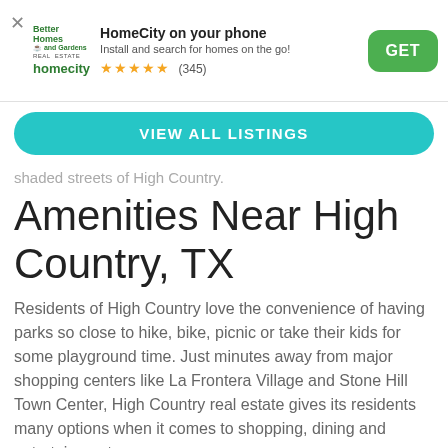[Figure (screenshot): App promotion banner with Better Homes and Gardens / HomeCity logo, star rating, and GET button]
VIEW ALL LISTINGS
shaded streets of High Country.
Amenities Near High Country, TX
Residents of High Country love the convenience of having parks so close to hike, bike, picnic or take their kids for some playground time. Just minutes away from major shopping centers like La Frontera Village and Stone Hill Town Center, High Country real estate gives its residents many options when it comes to shopping, dining and entertainment.
High Country homes for sale are just four miles from the